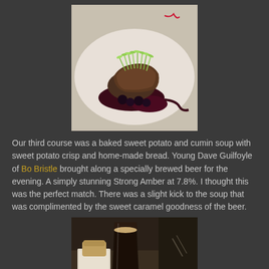[Figure (photo): A plated dish on a white plate featuring a dark berry sauce, a meat or protein component topped with microgreens and herbs, photographed from above on a restaurant table.]
Our third course was a baked sweet potato and cumin soup with sweet potato crisp and home-made bread. Young Dave Guilfoyle of Bo Bristle brought along a specially brewed beer for the evening. A simply stunning Strong Amber at 7.8%. I thought this was the perfect match. There was a slight kick to the soup that was complimented by the sweet caramel goodness of the beer.
[Figure (photo): A dark glass of beer on a restaurant table, partially visible, with a white napkin and bread in the background.]